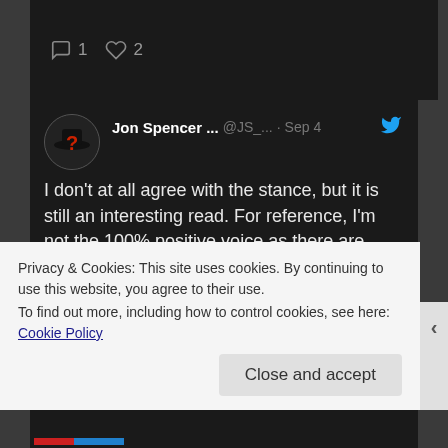[Figure (screenshot): Twitter/social media interface top strip showing comment icon with count 1 and heart icon with count 2]
Jon Spencer ... @JS_... · Sep 4
I don't at all agree with the stance, but it is still an interesting read. For reference, I'm not the 100% positive voice as there are issues in the show but I'm also not of the mind it is this bad. How about you?
iniks... @Cameron_P... · Sep 3
Why is Sound of the Sky so Bad?
An #anitwitwatches post
searchofno9.wordpress.com/2022/0
Privacy & Cookies: This site uses cookies. By continuing to use this website, you agree to their use.
To find out more, including how to control cookies, see here: Cookie Policy
Close and accept